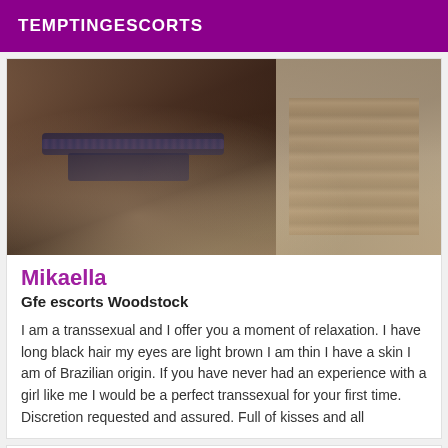TEMPTINGESCORTS
[Figure (photo): Photo showing a person wearing dark lace stockings and dark underwear, with a room interior background on the right side.]
Mikaella
Gfe escorts Woodstock
I am a transsexual and I offer you a moment of relaxation. I have long black hair my eyes are light brown I am thin I have a skin I am of Brazilian origin. If you have never had an experience with a girl like me I would be a perfect transsexual for your first time. Discretion requested and assured. Full of kisses and all